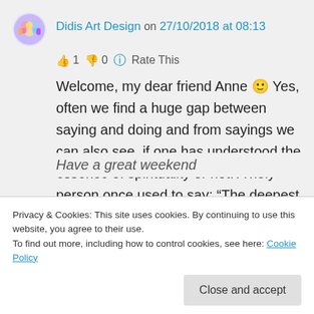Didis Art Design on 27/10/2018 at 08:13
👍 1 👎 0 ℹ Rate This
Welcome, my dear friend Anne 🙂 Yes, often we find a huge gap between saying and doing and from sayings we can also see, if one has understood the essence of spirituality or not: A holy person once used to say: "The deepest knowledge lies in the fact of serving others…" – selfless service
Have a great weekend
Privacy & Cookies: This site uses cookies. By continuing to use this website, you agree to their use.
To find out more, including how to control cookies, see here: Cookie Policy